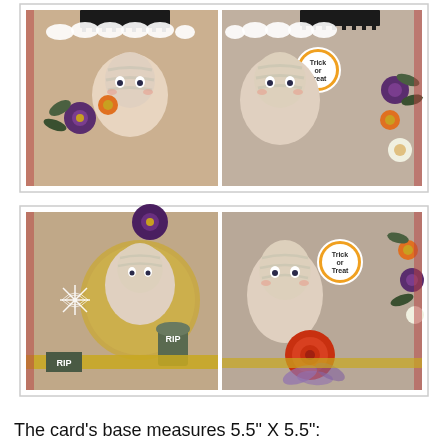[Figure (photo): Two-row photo collage of Halloween craft cards featuring a mummy character with flowers, spiderweb and RIP tombstone decorations, fence die cuts, and 'Trick or Treat' circular labels. Top row shows two detail views of the top portion of the card; bottom row shows two detail views of the bottom/side portions.]
The card's base measures 5.5" X 5.5":